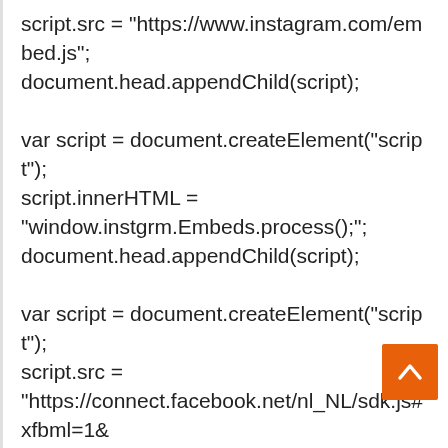script.src = "https://www.instagram.com/embed.js";
document.head.appendChild(script);

var script = document.createElement("script");
script.innerHTML =
"window.instgrm.Embeds.process();";
document.head.appendChild(script);

var script = document.createElement("script");
script.src =
"https://connect.facebook.net/nl_NL/sdk.js#xfbml=1&version=v8.0";

var facebookDiv = document.createElement('script');
facebookDiv.innerHTML = `window.fbAsyncInit =
function() {FB.init({ xfbml : true, version : 'v5.0' });};
`;
document.head.appendChild(facebookDiv);

var my_awesome_script =
[Figure (other): Orange back-to-top button with white upward chevron arrow]